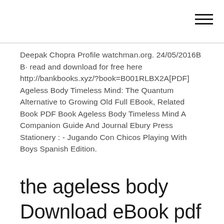Deepak Chopra Profile watchman.org. 24/05/2016B B· read and download for free here http://bankbooks.xyz/?book=B001RLBX2A[PDF] Ageless Body Timeless Mind: The Quantum Alternative to Growing Old Full EBook, Related Book PDF Book Ageless Body Timeless Mind A Companion Guide And Journal Ebury Press Stationery : - Jugando Con Chicos Playing With Boys Spanish Edition.
the ageless body Download eBook pdf epub tuebl mobi